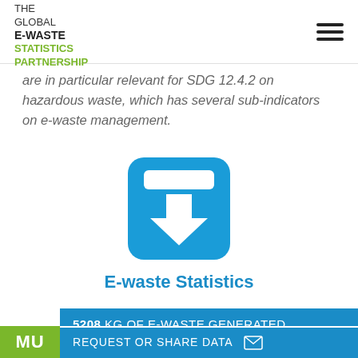THE GLOBAL E-WASTE STATISTICS PARTNERSHIP
are in particular relevant for SDG 12.4.2 on hazardous waste, which has several sub-indicators on e-waste management.
[Figure (illustration): Blue rounded square icon with a white downward arrow/download symbol inside]
E-waste Statistics Tool
5208 KG OF E-WASTE GENERATED
REQUEST OR SHARE DATA